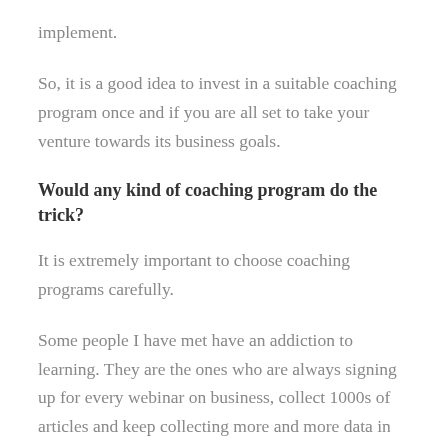implement.
So, it is a good idea to invest in a suitable coaching program once and if you are all set to take your venture towards its business goals.
Would any kind of coaching program do the trick?
It is extremely important to choose coaching programs carefully.
Some people I have met have an addiction to learning. They are the ones who are always signing up for every webinar on business, collect 1000s of articles and keep collecting more and more data in their heads. This is not learning. This is merely consuming. In order to straighten your business, you need to first